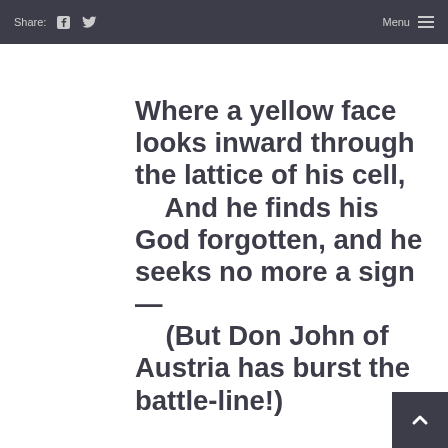Share: [facebook] [twitter]   Menu ≡
Where a yellow face looks inward through the lattice of his cell,
    And he finds his God forgotten, and he seeks no more a sign—
    (But Don John of Austria has burst the battle-line!)